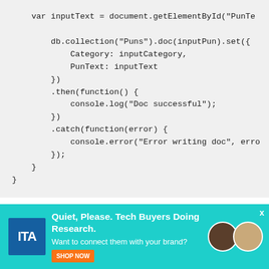var inputText = document.getElementById("PunTe

    db.collection("Puns").doc(inputPun).set({
        Category: inputCategory,
        PunText: inputText
    })
    .then(function() {
        console.log("Doc successful");
    })
    .catch(function(error) {
        console.error("Error writing doc", erro
    });
}
Note that in Listing 3, that the database was created with the variable called db. This variable is then used to create the new document (record) by specifying the name of the collec                                                          in Figure                                                    ch in
[Figure (other): Advertisement overlay: teal background with ITA logo, text 'Quiet, Please. Tech Buyers Doing Research. Want to connect them with your brand?' with orange button, and photos of people on the right.]